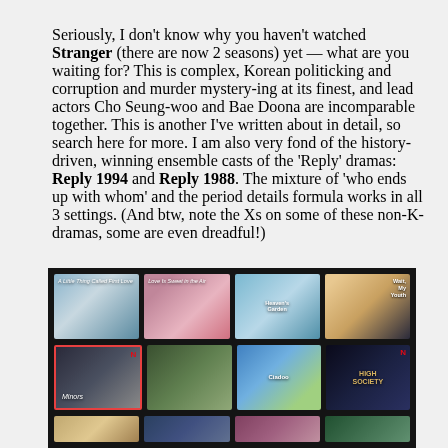Seriously, I don't know why you haven't watched Stranger (there are now 2 seasons) yet — what are you waiting for? This is complex, Korean politicking and corruption and murder mystery-ing at its finest, and lead actors Cho Seung-woo and Bae Doona are incomparable together. This is another I've written about in detail, so search here for more. I am also very fond of the history-driven, winning ensemble casts of the 'Reply' dramas: Reply 1994 and Reply 1988. The mixture of 'who ends up with whom' and the period details formula works in all 3 settings. (And btw, note the Xs on some of these non-K-dramas, some are even dreadful!)
[Figure (screenshot): Netflix grid showing 8+ drama thumbnails in 2 visible rows plus a partial third row. Titles visible include Heaven's Garden, Wait My Youth, Minors, High Society, and others.]